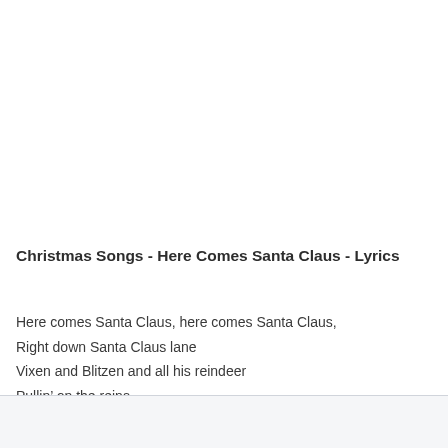Christmas Songs - Here Comes Santa Claus - Lyrics
Here comes Santa Claus, here comes Santa Claus,
Right down Santa Claus lane
Vixen and Blitzen and all his reindeer
Pullin’ on the reins